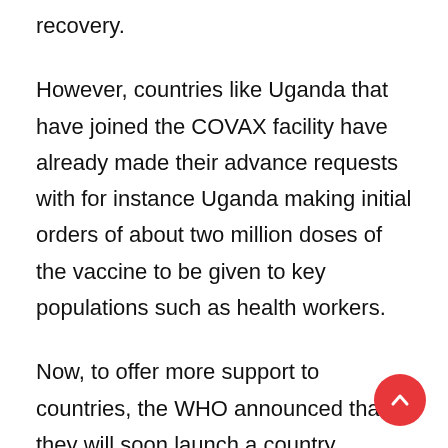recovery.
However, countries like Uganda that have joined the COVAX facility have already made their advance requests with for instance Uganda making initial orders of about two million doses of the vaccine to be given to key populations such as health workers.
Now, to offer more support to countries, the WHO announced that they will soon launch a country readiness portal which will allow participants to submit their final national deployment and vaccination plans.  This they say is a vital step before allocations can be made, to ensure that